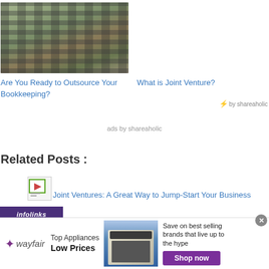[Figure (photo): Photo of a keyboard/typewriter on a wooden surface, seen from above with hands visible]
Are You Ready to Outsource Your Bookkeeping?
What is Joint Venture?
⚡ by shareaholic
ads by shareaholic
Related Posts :
[Figure (photo): Small thumbnail image placeholder icon]
Joint Ventures: A Great Way to Jump-Start Your Business
infolinks
[Figure (photo): Wayfair advertisement banner: Top Appliances Low Prices, Save on best selling brands that live up to the hype, Shop now button]